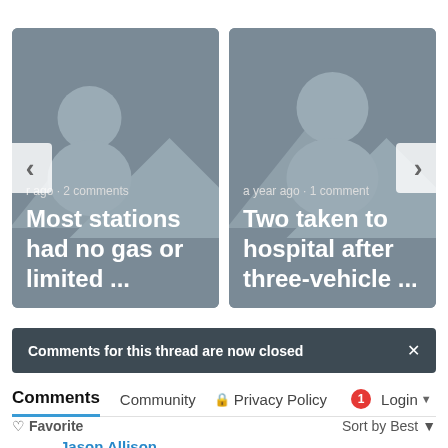[Figure (screenshot): News article thumbnail card: grey placeholder image with mountain/person silhouette. Meta: 'r ago · 2 comments'. Title: 'Most stations had no gas or limited ...']
[Figure (screenshot): News article thumbnail card: grey placeholder image with mountain/person silhouette. Meta: 'a year ago · 1 comment'. Title: 'Two taken to hospital after three-vehicle ...']
Comments for this thread are now closed
Comments   Community   🔒 Privacy Policy   1  Login ▾
♡ Favorite   Sort by Best ▾
Jason Allison
9 years ago